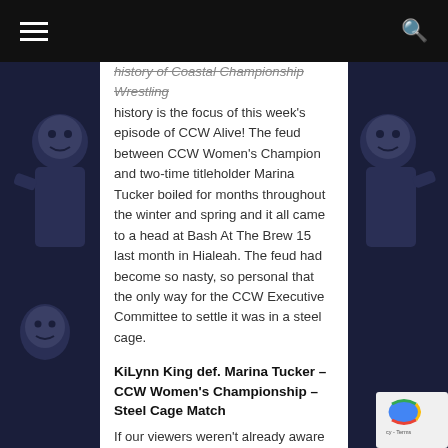≡  🔍
history of Coastal Championship Wrestling history is the focus of this week's episode of CCW Alive! The feud between CCW Women's Champion and two-time titleholder Marina Tucker boiled for months throughout the winter and spring and it all came to a head at Bash At The Brew 15 last month in Hialeah. The feud had become so nasty, so personal that the only way for the CCW Executive Committee to settle it was in a steel cage.
KiLynn King def. Marina Tucker – CCW Women's Championship – Steel Cage Match
If our viewers weren't already aware of how personal this matchup was, it was obvious from the moment the bell rang. An intense staredown in the center of the ring quickly devolved into a slugfest that ended with a